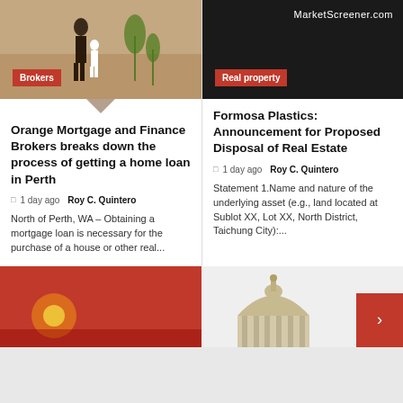[Figure (photo): Photo of adults and child walking outdoors, desert/field background]
Brokers
[Figure (screenshot): MarketScreener.com logo/header on dark background]
Real property
Orange Mortgage and Finance Brokers breaks down the process of getting a home loan in Perth
1 day ago  Roy C. Quintero
North of Perth, WA – Obtaining a mortgage loan is necessary for the purchase of a house or other real...
Formosa Plastics: Announcement for Proposed Disposal of Real Estate
1 day ago  Roy C. Quintero
Statement 1.Name and nature of the underlying asset (e.g., land located at Sublot XX, Lot XX, North District, Taichung City):...
[Figure (photo): Red/orange glowing abstract background]
[Figure (illustration): Illustration of a government/civic building dome]